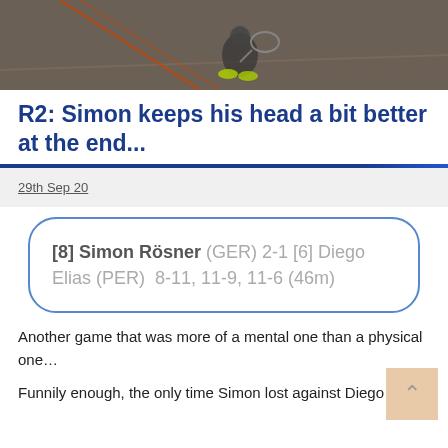[Figure (photo): Squash player mid-game on a squash court, motion blur visible]
R2: Simon keeps his head a bit better at the end...
29th Sep 20
[8] Simon Rösner (GER) 2-1 [6] Diego Elias (PER)  8-11, 11-9, 11-6 (46m)
Another game that was more of a mental one than a physical one…
Funnily enough, the only time Simon lost against Diego...